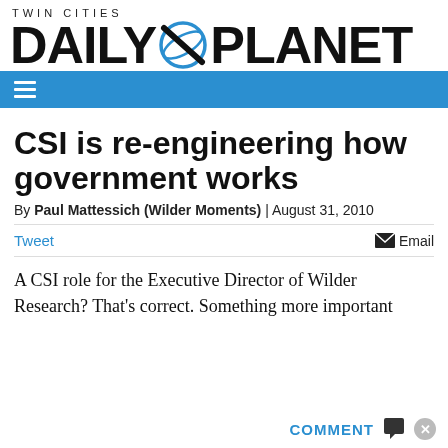TWIN CITIES DAILY PLANET
[Figure (logo): Twin Cities Daily Planet logo with stylized planet/orbit symbol between DAILY and PLANET in bold black text]
CSI is re-engineering how government works
By Paul Mattessich (Wilder Moments) | August 31, 2010
Tweet   Email
A CSI role for the Executive Director of Wilder Research? That's correct. Something more important...